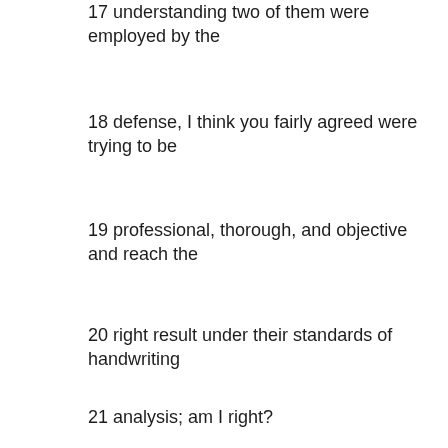17 understanding two of them were employed by the
18 defense, I think you fairly agreed were trying to be
19 professional, thorough, and objective and reach the
20 right result under their standards of handwriting
21 analysis; am I right?